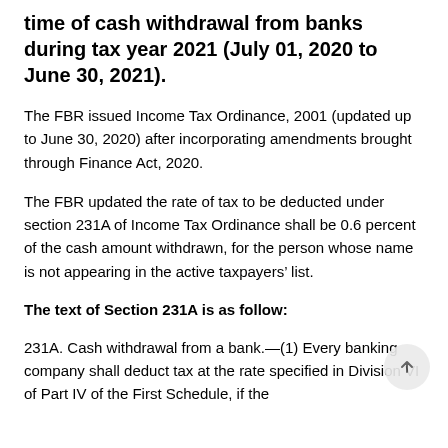time of cash withdrawal from banks during tax year 2021 (July 01, 2020 to June 30, 2021).
The FBR issued Income Tax Ordinance, 2001 (updated up to June 30, 2020) after incorporating amendments brought through Finance Act, 2020.
The FBR updated the rate of tax to be deducted under section 231A of Income Tax Ordinance shall be 0.6 percent of the cash amount withdrawn, for the person whose name is not appearing in the active taxpayers’ list.
The text of Section 231A is as follow:
231A. Cash withdrawal from a bank.—(1) Every banking company shall deduct tax at the rate specified in Division VI of Part IV of the First Schedule, if the